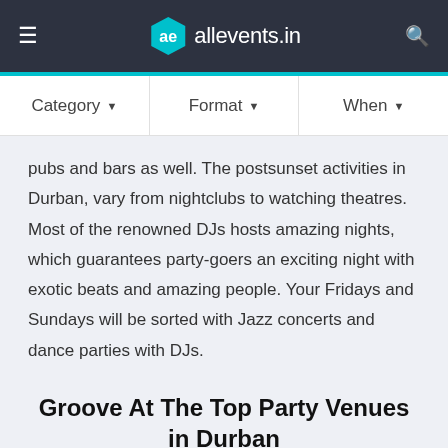allevents.in
Category ▾   Format ▾   When ▾
pubs and bars as well. The postsunset activities in Durban, vary from nightclubs to watching theatres. Most of the renowned DJs hosts amazing nights, which guarantees party-goers an exciting night with exotic beats and amazing people. Your Fridays and Sundays will be sorted with Jazz concerts and dance parties with DJs.
Groove At The Top Party Venues in Durban
The majority of parties in Durban are celebrated on the docks area, in the Golden Mile and in suburbs such as Westville. A diverse variety of party venues in Durban are